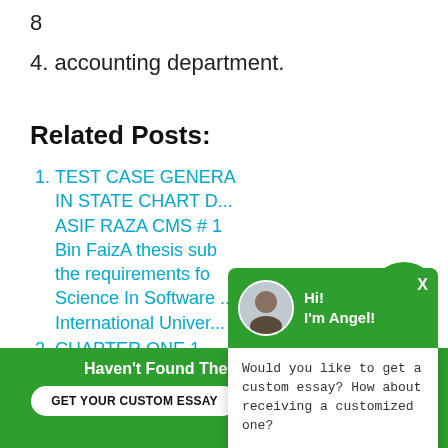8
4. accounting department.
Related Posts:
1. TEST CASE GENERA... IN STATE CHART D... ASIF RAZA CMS # 1... Bin FaizA thesis sub... the requirements fo... Science In Software ... International Univer...
2. CHAPTER ONE 1
3. A PROJECT REPOR... N
4. CHAPTER 4 INTRODUCTION PROM...
[Figure (screenshot): Chat popup overlay with green header showing avatar and greeting 'Hi! I'm Angel!', body text 'Would you like to get a custom essay? How about receiving a customized one?' with 'Check it out' link, and a close X button.]
[Figure (screenshot): Green circular chat icon button at bottom right.]
Haven't Found The Essay You Want?
GET YOUR CUSTOM ESSAY
For Only $13.90/page